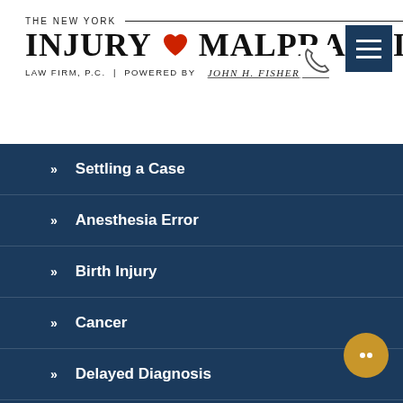[Figure (logo): The New York Injury & Malpractice Law Firm, P.C. | Powered by John H. Fisher, P.C. logo with red heart icon]
» Settling a Case
» Anesthesia Error
» Birth Injury
» Cancer
» Delayed Diagnosis
» Dental Malpractice
» ER Error
» Errors of Commission